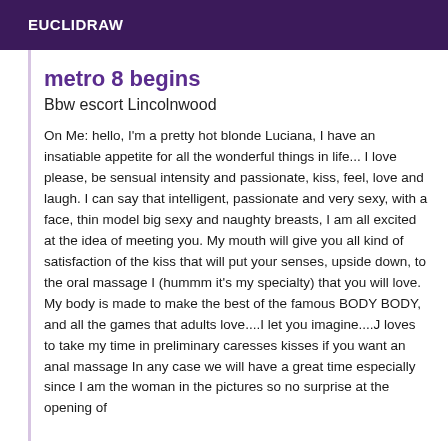EUCLIDRAW
metro 8 begins
Bbw escort Lincolnwood
On Me: hello, I'm a pretty hot blonde Luciana, I have an insatiable appetite for all the wonderful things in life... I love please, be sensual intensity and passionate, kiss, feel, love and laugh. I can say that intelligent, passionate and very sexy, with a face, thin model big sexy and naughty breasts, I am all excited at the idea of meeting you. My mouth will give you all kind of satisfaction of the kiss that will put your senses, upside down, to the oral massage I (hummm it's my specialty) that you will love. My body is made to make the best of the famous BODY BODY, and all the games that adults love....I let you imagine....J loves to take my time in preliminary caresses kisses if you want an anal massage In any case we will have a great time especially since I am the woman in the pictures so no surprise at the opening of